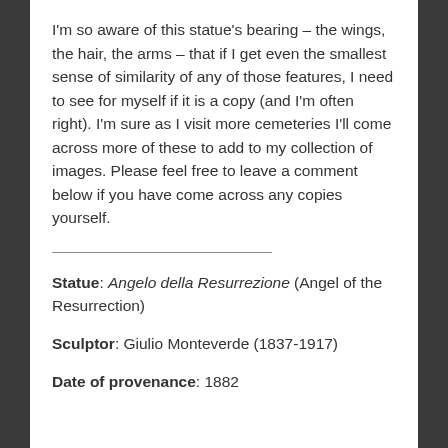I'm so aware of this statue's bearing – the wings, the hair, the arms – that if I get even the smallest sense of similarity of any of those features, I need to see for myself if it is a copy (and I'm often right). I'm sure as I visit more cemeteries I'll come across more of these to add to my collection of images. Please feel free to leave a comment below if you have come across any copies yourself.
Statue: Angelo della Resurrezione (Angel of the Resurrection)
Sculptor: Giulio Monteverde (1837-1917)
Date of provenance: 1882